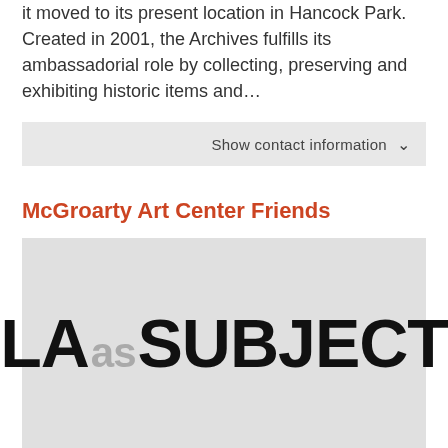it moved to its present location in Hancock Park. Created in 2001, the Archives fulfills its ambassadorial role by collecting, preserving and exhibiting historic items and...
Show contact information ∨
McGroarty Art Center Friends
[Figure (logo): Logo reading 'LA as SUBJECT' where 'LA' and 'SUBJECT' are in large black bold text and 'as' is in smaller gray text, all on a light gray background.]